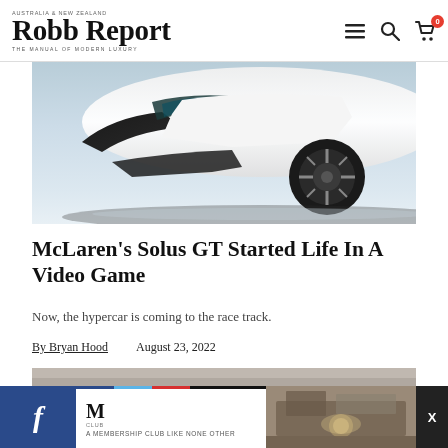Robb Report — AUSTRALIA & NEW ZEALAND — THE MANUAL OF MODERN LUXURY
[Figure (photo): Partial overhead/side view of McLaren Solus GT supercar in white with dark aerodynamic elements on a light blue-grey background]
McLaren's Solus GT Started Life In A Video Game
Now, the hypercar is coming to the race track.
By Bryan Hood    August 23, 2022
[Figure (photo): Partial view of another image, appears to be a grey/beige background surface]
[Figure (other): Advertisement banner: Facebook share button, M membership club logo with tagline 'A MEMBERSHIP CLUB LIKE NONE OTHER', interior venue photo, close button X]